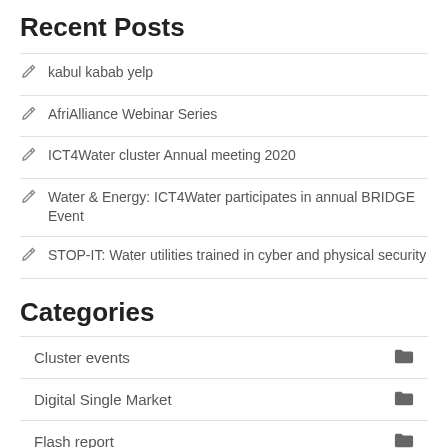Recent Posts
kabul kabab yelp
AfriAlliance Webinar Series
ICT4Water cluster Annual meeting 2020
Water & Energy: ICT4Water participates in annual BRIDGE Event
STOP-IT: Water utilities trained in cyber and physical security
Categories
Cluster events
Digital Single Market
Flash report
Member projects